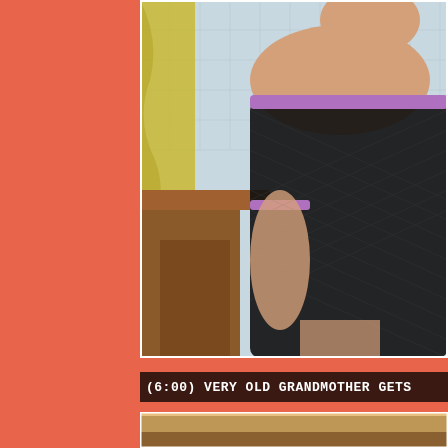[Figure (photo): Woman in black fishnet bodysuit with purple trim, sitting in a kitchen setting with tiled wall, yellow curtain, and wooden chair visible in background.]
(6:00) VERY OLD GRANDMOTHER GETS
[Figure (photo): Partial view of another photo showing a room interior, mostly cropped at bottom of page.]